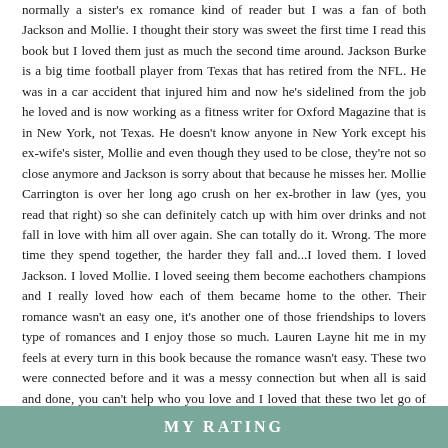normally a sister's ex romance kind of reader but I was a fan of both Jackson and Mollie. I thought their story was sweet the first time I read this book but I loved them just as much the second time around. Jackson Burke is a big time football player from Texas that has retired from the NFL. He was in a car accident that injured him and now he's sidelined from the job he loved and is now working as a fitness writer for Oxford Magazine that is in New York, not Texas. He doesn't know anyone in New York except his ex-wife's sister, Mollie and even though they used to be close, they're not so close anymore and Jackson is sorry about that because he misses her. Mollie Carrington is over her long ago crush on her ex-brother in law (yes, you read that right) so she can definitely catch up with him over drinks and not fall in love with him all over again. She can totally do it. Wrong. The more time they spend together, the harder they fall and...I loved them. I loved Jackson. I loved Mollie. I loved seeing them become eachothers champions and I really loved how each of them became home to the other. Their romance wasn't an easy one, it's another one of those friendships to lovers type of romances and I enjoy those so much. Lauren Layne hit me in my feels at every turn in this book because the romance wasn't easy. These two were connected before and it was a messy connection but when all is said and done, you can't help who you love and I loved that these two let go of what they should feel and went with how they really felt because *swoon* I just adored them together. This was another fabulous contemporary romance by Lauren Layne and everyone should read and fall in love with them too. 🙂
MY RATING